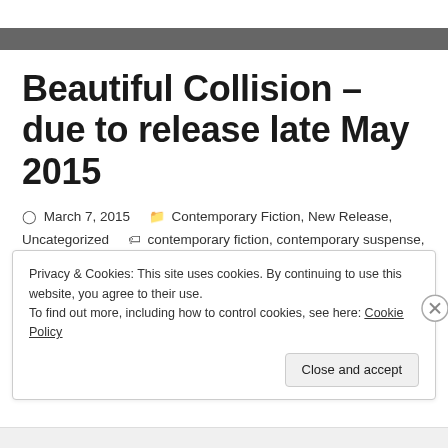Beautiful Collision – due to release late May 2015
March 7, 2015   Contemporary Fiction, New Release, Uncategorized   contemporary fiction, contemporary suspense, new release
Privacy & Cookies: This site uses cookies. By continuing to use this website, you agree to their use.
To find out more, including how to control cookies, see here: Cookie Policy
Close and accept